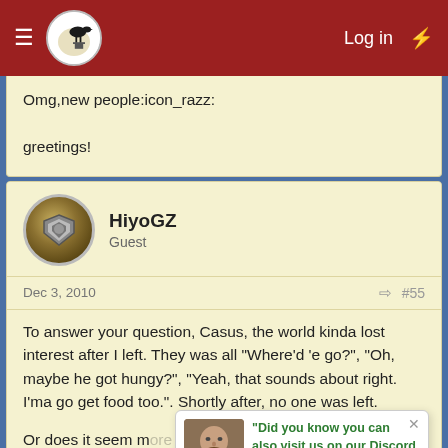Log in
Omg,new people:icon_razz:

greetings!
HiyoGZ
Guest
Dec 3, 2010  #55
To answer your question, Casus, the world kinda lost interest after I left. They was all "Where'd 'e go?", "Oh, maybe he got hungy?", "Yeah, that sounds about right. I'ma go get food too.". Shortly after, no one was left.
"Did you know you can also visit us on our Discord chat? Come and meet us!
Or does it seem more like people started to come back after I left?
By the way, sorry teammates. Was good while it lasted